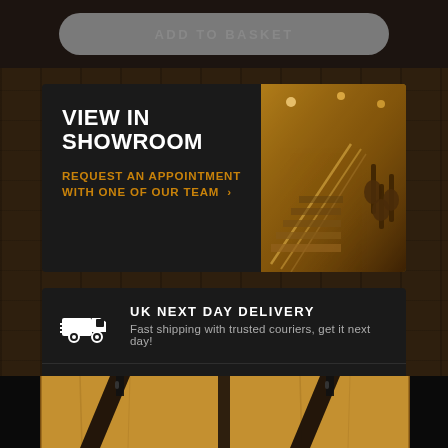ADD TO BASKET
VIEW IN SHOWROOM
REQUEST AN APPOINTMENT WITH ONE OF OUR TEAM  ›
[Figure (photo): Showroom interior with wooden staircase and guitar displays]
UK NEXT DAY DELIVERY
Fast shipping with trusted couriers, get it next day!
FREE UK DELIVERY OVER £99
What you see is what you will get!
[Figure (photo): Two product images showing guitar straps on wooden background]